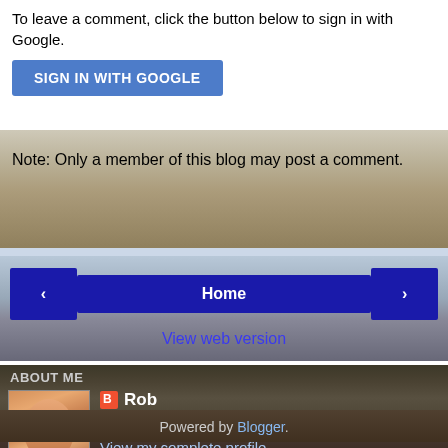To leave a comment, click the button below to sign in with Google.
SIGN IN WITH GOOGLE
Note: Only a member of this blog may post a comment.
< Home >
View web version
ABOUT ME
[Figure (photo): Profile photo of Rob — a man smiling, partial view]
Rob
Biography
View my complete profile
Powered by Blogger.